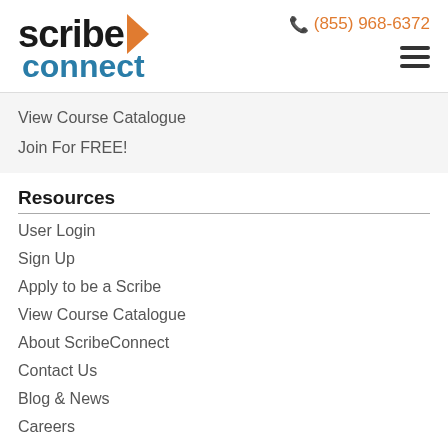[Figure (logo): ScribeConnect logo with arrow graphic and text 'scribe connect']
(855) 968-6372
View Course Catalogue
Join For FREE!
Resources
User Login
Sign Up
Apply to be a Scribe
View Course Catalogue
About ScribeConnect
Contact Us
Blog & News
Careers
FAQ